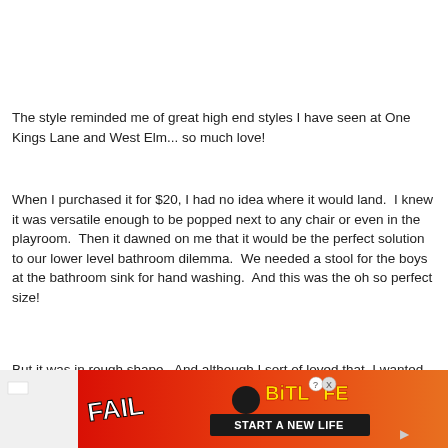The style reminded me of great high end styles I have seen at One Kings Lane and West Elm... so much love!
When I purchased it for $20, I had no idea where it would land.  I knew it was versatile enough to be popped next to any chair or even in the playroom.  Then it dawned on me that it would be the perfect solution to our lower level bathroom dilemma.  We needed a stool for the boys at the bathroom sink for hand washing.  And this was the oh so perfect size!
But it was in rough shape.  And although I sort of loved that, I wanted to clean it up a bit and make it mesh well with the bathroom...
[Figure (screenshot): BitLife advertisement banner with red/orange background, FAIL text, cartoon character, and 'START A NEW LIFE' tagline]